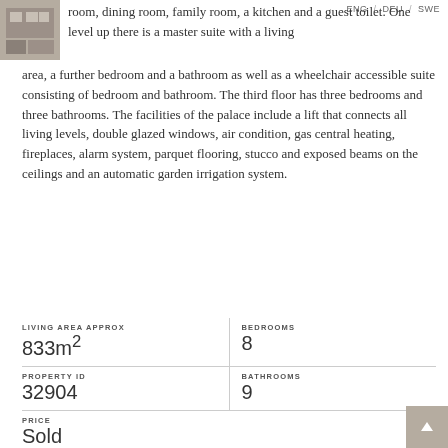ENG / DEU / SWE
[Figure (photo): Small thumbnail image of a room or building exterior, grey/brown tones]
room, dining room, family room, a kitchen and a guest toilet. One level up there is a master suite with a living area, a further bedroom and a bathroom as well as a wheelchair accessible suite consisting of bedroom and bathroom. The third floor has three bedrooms and three bathrooms. The facilities of the palace include a lift that connects all living levels, double glazed windows, air condition, gas central heating, fireplaces, alarm system, parquet flooring, stucco and exposed beams on the ceilings and an automatic garden irrigation system.
| LIVING AREA APPROX
833m² | BEDROOMS
8 |
| PROPERTY ID
32904 | BATHROOMS
9 |
| PRICE
Sold |  |